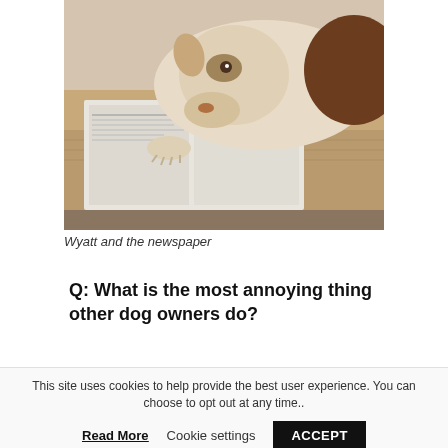[Figure (photo): A brown and white husky dog lying on a cushion and apparently reading a newspaper spread open in front of it.]
Wyatt and the newspaper
Q: What is the most annoying thing other dog owners do?
This site uses cookies to help provide the best user experience. You can choose to opt out at any time..
Read More   Cookie settings   ACCEPT